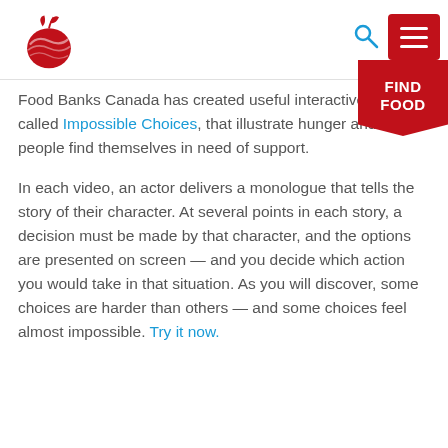Food Banks Canada logo, search icon, menu button, FIND FOOD ribbon
Food Banks Canada has created useful interactive videos, called Impossible Choices, that illustrate hunger and how people find themselves in need of support.
In each video, an actor delivers a monologue that tells the story of their character. At several points in each story, a decision must be made by that character, and the options are presented on screen — and you decide which action you would take in that situation. As you will discover, some choices are harder than others — and some choices feel almost impossible. Try it now.